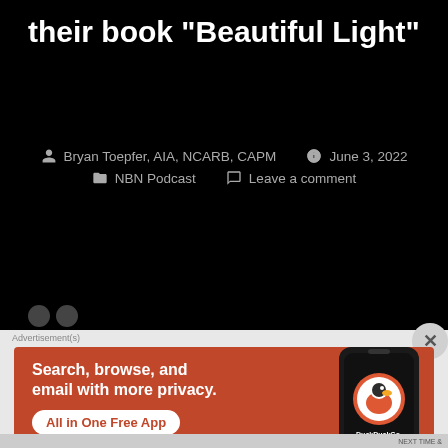their book “Beautiful Light”
Bryan Toepfer, AIA, NCARB, CAPM   June 3, 2022   NBN Podcast   Leave a comment
[Figure (screenshot): Advertisement for DuckDuckGo app: orange banner with text 'Search, browse, and email with more privacy. All in One Free App' and phone graphic showing DuckDuckGo logo]
NEXT TIME &